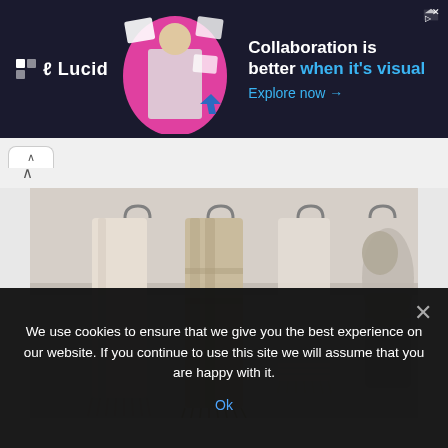[Figure (screenshot): Lucid advertisement banner: dark navy background with Lucid logo on left, graphic of woman at laptop with colorful shapes in center, text 'Collaboration is better when it's visual' with 'Explore now →' CTA on right. Close button top right.]
[Figure (photo): Photo of multiple scarves, wraps, and textiles in neutral cream/beige/tan colors hanging from metal hooks on a white wall.]
We use cookies to ensure that we give you the best experience on our website. If you continue to use this site we will assume that you are happy with it.
Ok